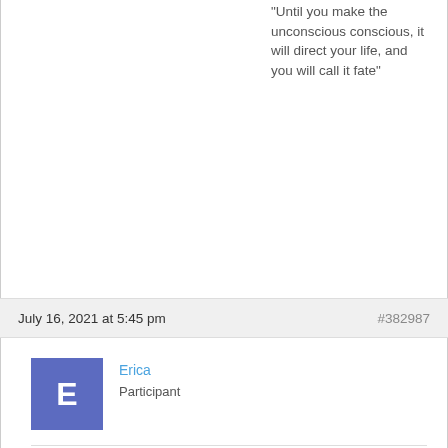"Until you make the unconscious conscious, it will direct your life, and you will call it fate"
July 16, 2021 at 5:45 pm
#382987
Erica
Participant
Linarra,